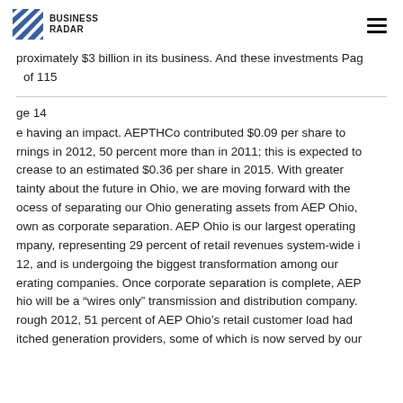BUSINESS RADAR
proximately $3 billion in its business. And these investments Page of 115
ge 14
e having an impact. AEPTHCo contributed $0.09 per share to rnings in 2012, 50 percent more than in 2011; this is expected to crease to an estimated $0.36 per share in 2015. With greater tainty about the future in Ohio, we are moving forward with the ocess of separating our Ohio generating assets from AEP Ohio, own as corporate separation. AEP Ohio is our largest operating mpany, representing 29 percent of retail revenues system-wide in 12, and is undergoing the biggest transformation among our erating companies. Once corporate separation is complete, AEP hio will be a “wires only” transmission and distribution company. rough 2012, 51 percent of AEP Ohio’s retail customer load had itched generation providers, some of which is now served by our